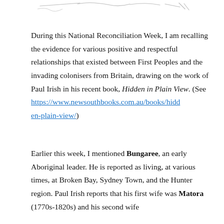[Figure (illustration): Faint handwritten signature or handwriting strokes visible at the top of the page]
During this National Reconciliation Week, I am recalling the evidence for various positive and respectful relationships that existed between First Peoples and the invading colonisers from Britain, drawing on the work of Paul Irish in his recent book, Hidden in Plain View. (See https://www.newsouthbooks.com.au/books/hidden-plain-view/)
Earlier this week, I mentioned Bungaree, an early Aboriginal leader. He is reported as living, at various times, at Broken Bay, Sydney Town, and the Hunter region. Paul Irish reports that his first wife was Matora (1770s-1820s) and his second wife was Cora Gooseberry (1770s-1852). Both...